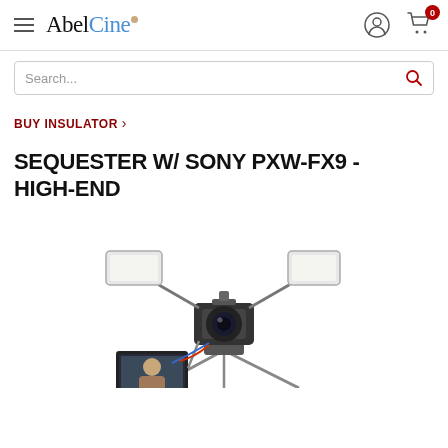AbelCine
Search...
BUY INSULATOR ›
SEQUESTER W/ SONY PXW-FX9 - HIGH-END
[Figure (photo): Professional cinema camera rig (Sony PXW-FX9) mounted on a tripod head with two on-camera LED light panels extended on articulating arms, and a monitor visible at the bottom left.]